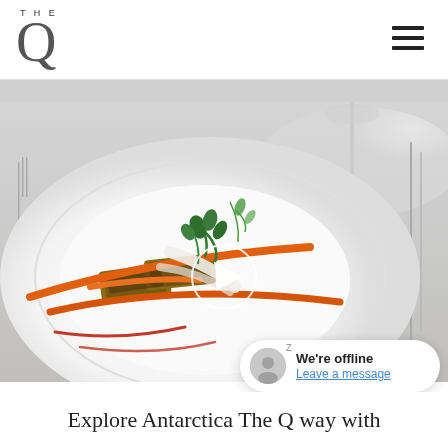[Figure (logo): THE Q magazine logo — 'THE' in small spaced caps above a large italic Q]
[Figure (photo): Fine dining plate with herb-crusted meat, baby carrots, fennel fronds, and red sauce drizzle on a white restaurant plate; video play button overlay in center; wine glass and cutlery visible in background]
We're offline
Leave a message
Explore Antarctica The Q way with